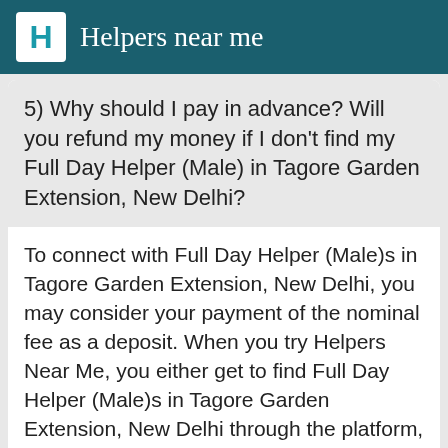Helpers near me
5) Why should I pay in advance? Will you refund my money if I don't find my Full Day Helper (Male) in Tagore Garden Extension, New Delhi?
To connect with Full Day Helper (Male)s in Tagore Garden Extension, New Delhi, you may consider your payment of the nominal fee as a deposit. When you try Helpers Near Me, you either get to find Full Day Helper (Male)s in Tagore Garden Extension, New Delhi through the platform, or we make a 100% refund for
Find & Hire now →